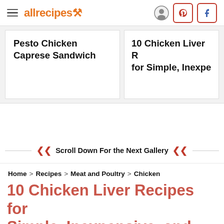allrecipes
Pesto Chicken Caprese Sandwich
10 Chicken Liver Recipes for Simple, Inexpe...
Scroll Down For the Next Gallery
Home > Recipes > Meat and Poultry > Chicken
10 Chicken Liver Recipes for Simple, Inexpensive, and